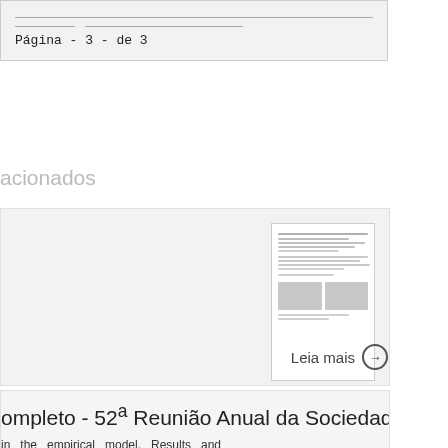Página - 3 - de 3
acionados
[Figure (screenshot): Thumbnail preview of a document page with text and table content]
Leia mais →
ompleto - 52ª Reunião Anual da Sociedade
in the empirical model. Results and Discussion odel were utilized 5062 observations of DFI in pigs dy weights and temperatures. The maximum,
[Figure (screenshot): Thumbnail of scientific paper with green header and text content]